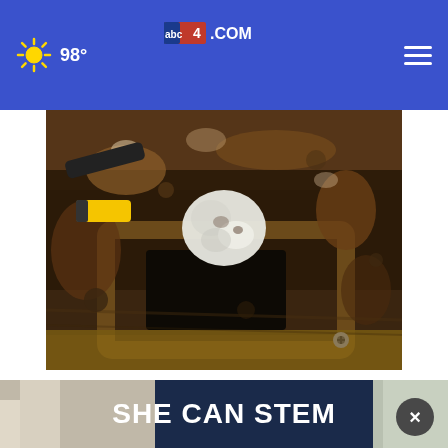98° abc4.com
[Figure (photo): Close-up photo of a corroded, dirty drain or pipe opening surrounded by rust, grime, and debris. Tools visible in the upper left corner. A white cloth or material is visible in the center of the dirty surface.]
Thousands of Ashburn Seniors Are Getting Walk-in Tubs with This New Program
Smart Consumer Update
[Figure (screenshot): Dark blue advertisement banner reading SHE CAN STEM in large white bold letters]
×